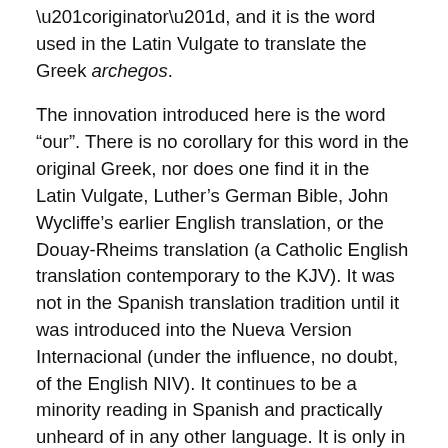“originator”, and it is the word used in the Latin Vulgate to translate the Greek archegos.
The innovation introduced here is the word “our”. There is no corollary for this word in the original Greek, nor does one find it in the Latin Vulgate, Luther’s German Bible, John Wycliffe’s earlier English translation, or the Douay-Rheims translation (a Catholic English translation contemporary to the KJV). It was not in the Spanish translation tradition until it was introduced into the Nueva Version Internacional (under the influence, no doubt, of the English NIV). It continues to be a minority reading in Spanish and practically unheard of in any other language. It is only in English that the majority reading includes the interpolation “our”.
There are a few English translations that do not include